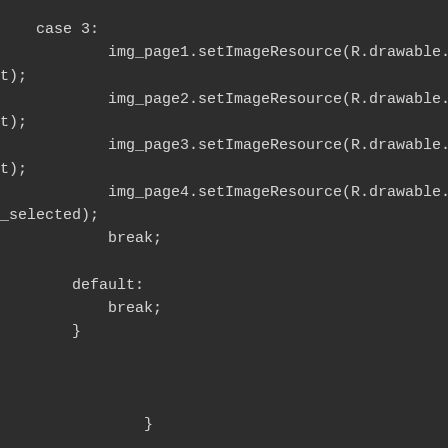case 3:
        img_page1.setImageResource(R.drawable.dot);
        img_page2.setImageResource(R.drawable.dot);
        img_page3.setImageResource(R.drawable.dot);
        img_page4.setImageResource(R.drawable.dot_selected);
        break;

    default:
        break;
    }


            }

            @Override
            public void onPageScrolled(int arg0, float arg1, int arg2) {